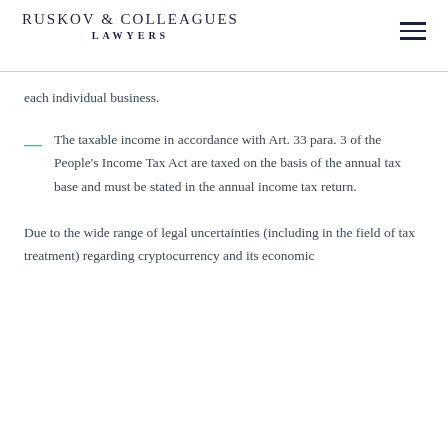Ruskov & Colleagues Lawyers
each individual business.
The taxable income in accordance with Art. 33 para. 3 of the People's Income Tax Act are taxed on the basis of the annual tax base and must be stated in the annual income tax return.
Due to the wide range of legal uncertainties (including in the field of tax treatment) regarding cryptocurrency and its economic